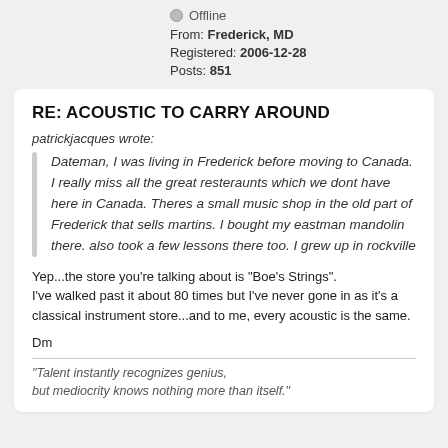Offline
From: Frederick, MD
Registered: 2006-12-28
Posts: 851
RE: ACOUSTIC TO CARRY AROUND
patrickjacques wrote:
Dateman, I was living in Frederick before moving to Canada. I really miss all the great resteraunts which we dont have here in Canada. Theres a small music shop in the old part of Frederick that sells martins. I bought my eastman mandolin there. also took a few lessons there too. I grew up in rockville
Yep...the store you're talking about is "Boe's Strings".
I've walked past it about 80 times but I've never gone in as it's a classical instrument store...and to me, every acoustic is the same.
Dm
"Talent instantly recognizes genius,
but mediocrity knows nothing more than itself."